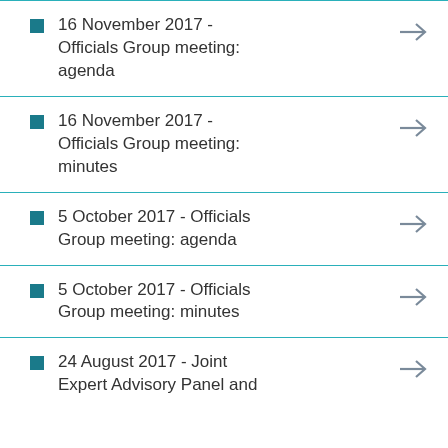16 November 2017 - Officials Group meeting: agenda
16 November 2017 - Officials Group meeting: minutes
5 October 2017 - Officials Group meeting: agenda
5 October 2017 - Officials Group meeting: minutes
24 August 2017 - Joint Expert Advisory Panel and